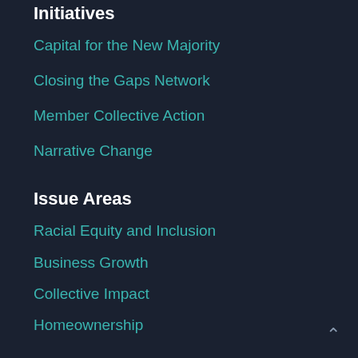Initiatives
Capital for the New Majority
Closing the Gaps Network
Member Collective Action
Narrative Change
Issue Areas
Racial Equity and Inclusion
Business Growth
Collective Impact
Homeownership
Narrative Change
Community
People